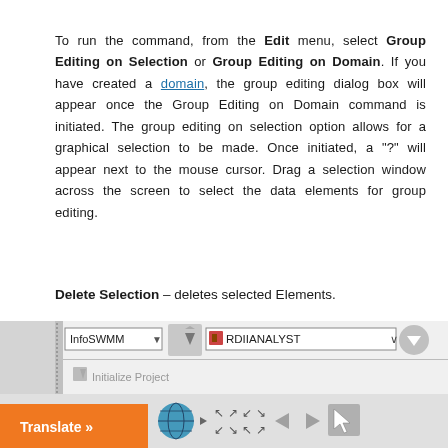To run the command, from the Edit menu, select Group Editing on Selection or Group Editing on Domain. If you have created a domain, the group editing dialog box will appear once the Group Editing on Domain command is initiated. The group editing on selection option allows for a graphical selection to be made. Once initiated, a "?" will appear next to the mouse cursor. Drag a selection window across the screen to select the data elements for group editing.
Delete Selection - deletes selected Elements.
Delete Domain - deletes the Domain.
Undo and Redo Delete - Recalls the deletion of past Elements
[Figure (screenshot): Screenshot of InfoSWMM software toolbar showing RDIIANALYST dropdown, Initialize Project button, Translate button (orange), globe icon, navigation arrows, and toolbar icon buttons.]